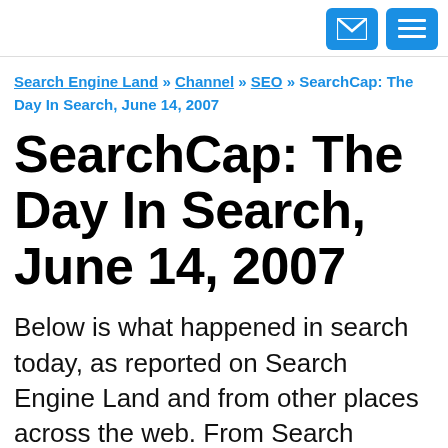[email icon] [menu icon]
Search Engine Land » Channel » SEO » SearchCap: The Day In Search, June 14, 2007
SearchCap: The Day In Search, June 14, 2007
Below is what happened in search today, as reported on Search Engine Land and from other places across the web. From Search Engine Land: eBay Pulls Google